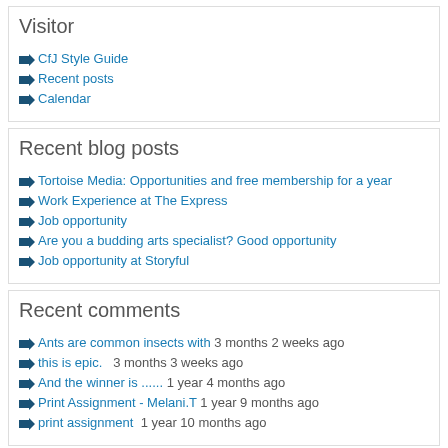Visitor
CfJ Style Guide
Recent posts
Calendar
Recent blog posts
Tortoise Media: Opportunities and free membership for a year
Work Experience at The Express
Job opportunity
Are you a budding arts specialist? Good opportunity
Job opportunity at Storyful
Recent comments
Ants are common insects with 3 months 2 weeks ago
this is epic.   3 months 3 weeks ago
And the winner is ...... 1 year 4 months ago
Print Assignment - Melani.T 1 year 9 months ago
print assignment  1 year 10 months ago